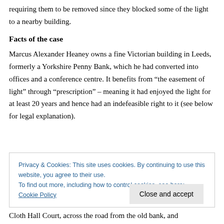requiring them to be removed since they blocked some of the light to a nearby building.
Facts of the case
Marcus Alexander Heaney owns a fine Victorian building in Leeds, formerly a Yorkshire Penny Bank, which he had converted into offices and a conference centre. It benefits from “the easement of light” through “prescription” – meaning it had enjoyed the light for at least 20 years and hence had an indefeasible right to it (see below for legal explanation).
Privacy & Cookies: This site uses cookies. By continuing to use this website, you agree to their use.
To find out more, including how to control cookies, see here: Cookie Policy
Cloth Hall Court, across the road from the old bank, and